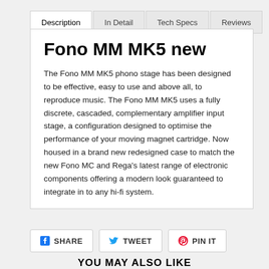Description | In Detail | Tech Specs | Reviews
Fono MM MK5 new
The Fono MM MK5 phono stage has been designed to be effective, easy to use and above all, to reproduce music. The Fono MM MK5 uses a fully discrete, cascaded, complementary amplifier input stage, a configuration designed to optimise the performance of your moving magnet cartridge. Now housed in a brand new redesigned case to match the new Fono MC and Rega's latest range of electronic components offering a modern look guaranteed to integrate in to any hi-fi system.
SHARE   TWEET   PIN IT
YOU MAY ALSO LIKE